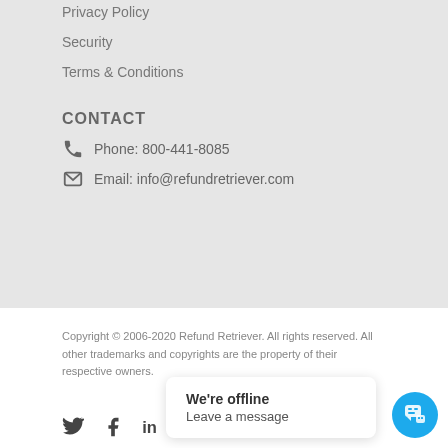Privacy Policy
Security
Terms & Conditions
CONTACT
Phone: 800-441-8085
Email: info@refundretriever.com
Copyright © 2006-2020 Refund Retriever. All rights reserved. All other trademarks and copyrights are the property of their respective owners.
[Figure (infographic): Social media icons: Twitter, Facebook, LinkedIn]
[Figure (screenshot): Chat popup: 'We're offline / Leave a message' with cyan chat button]